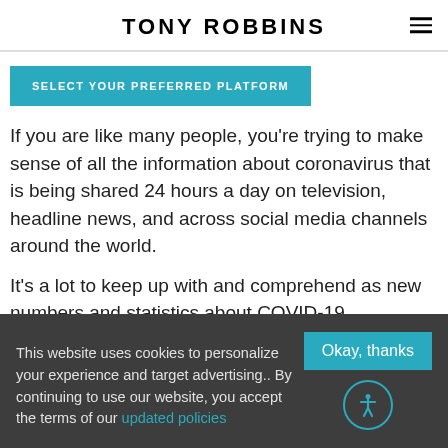TONY ROBBINS
SELECT YOUR PREFERRED PLATFORM
If you are like many people, you're trying to make sense of all the information about coronavirus that is being shared 24 hours a day on television, headline news, and across social media channels around the world.
It's a lot to keep up with and comprehend as new numbers and statistics about COVID-19
This website uses cookies to personalize your experience and target advertising.. By continuing to use our website, you accept the terms of our updated policies